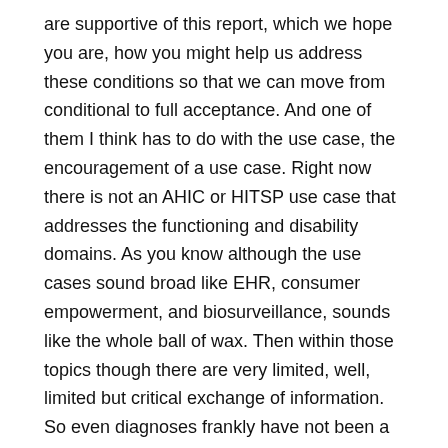are supportive of this report, which we hope you are, how you might help us address these conditions so that we can move from conditional to full acceptance. And one of them I think has to do with the use case, the encouragement of a use case. Right now there is not an AHIC or HITSP use case that addresses the functioning and disability domains. As you know although the use cases sound broad like EHR, consumer empowerment, and biosurveillance, sounds like the whole ball of wax. Then within those topics though there are very limited, well, limited but critical exchange of information. So even diagnoses frankly have not been a significant component of